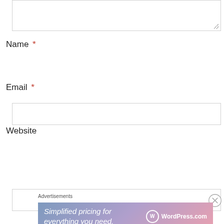[Figure (screenshot): Textarea input box (comment field), partially visible at top of page]
Name *
[Figure (screenshot): Text input box for Name field]
Email *
[Figure (screenshot): Text input box for Email field]
Website
[Figure (screenshot): Text input box for Website field]
POST COMMENT
Advertisements
[Figure (screenshot): WordPress.com advertisement banner: 'Simplified pricing for everything you need.' with WordPress.com logo]